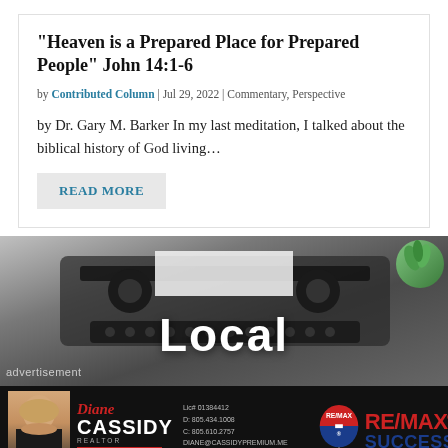“Heaven is a Prepared Place for Prepared People” John 14:1-6
by Contributed Column | Jul 29, 2022 | Commentary, Perspective
by Dr. Gary M. Barker In my last meditation, I talked about the biblical history of God living…
READ MORE
[Figure (photo): Photo of a typewriter with the word 'Local' overlaid in large white bold text, with a small succulent plant in the upper right corner. 'advertisement' text appears in lower left.]
[Figure (photo): Advertisement banner for Diane Cassidy, Realtor at RE/MAX Success. Features a photo of a blonde woman, contact details, and the RE/MAX balloon logo with 'RE/MAX SUCCESS' text.]